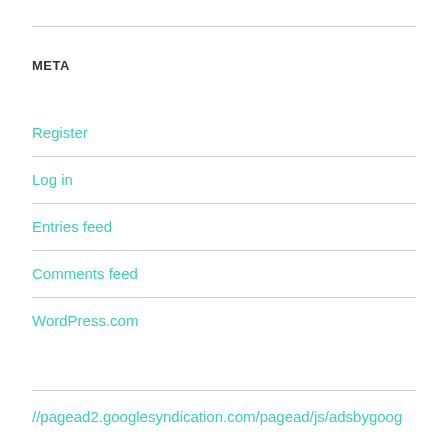META
Register
Log in
Entries feed
Comments feed
WordPress.com
//pagead2.googlesyndication.com/pagead/js/adsbygoog